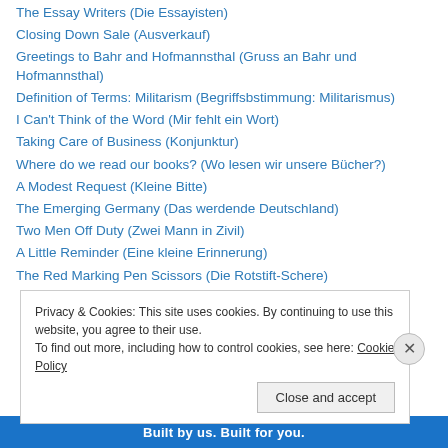The Essay Writers (Die Essayisten)
Closing Down Sale (Ausverkauf)
Greetings to Bahr and Hofmannsthal (Gruss an Bahr und Hofmannsthal)
Definition of Terms: Militarism (Begriffsbstimmung: Militarismus)
I Can't Think of the Word (Mir fehlt ein Wort)
Taking Care of Business (Konjunktur)
Where do we read our books? (Wo lesen wir unsere Bücher?)
A Modest Request (Kleine Bitte)
The Emerging Germany (Das werdende Deutschland)
Two Men Off Duty (Zwei Mann in Zivil)
A Little Reminder (Eine kleine Erinnerung)
The Red Marking Pen Scissors (Die Rotstift-Schere)
Privacy & Cookies: This site uses cookies. By continuing to use this website, you agree to their use.
To find out more, including how to control cookies, see here: Cookie Policy